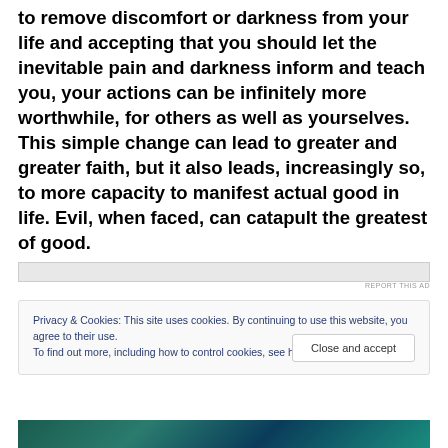to remove discomfort or darkness from your life and accepting that you should let the inevitable pain and darkness inform and teach you, your actions can be infinitely more worthwhile, for others as well as yourselves. This simple change can lead to greater and greater faith, but it also leads, increasingly so, to more capacity to manifest actual good in life. Evil, when faced, can catapult the greatest of good.
[Figure (other): Advertisement banner placeholder (light gray bar) with REPORT THIS AD link]
Privacy & Cookies: This site uses cookies. By continuing to use this website, you agree to their use.
To find out more, including how to control cookies, see here: Cookie Policy
[Figure (photo): Bottom strip showing teal and dark blue aurora or landscape photo]